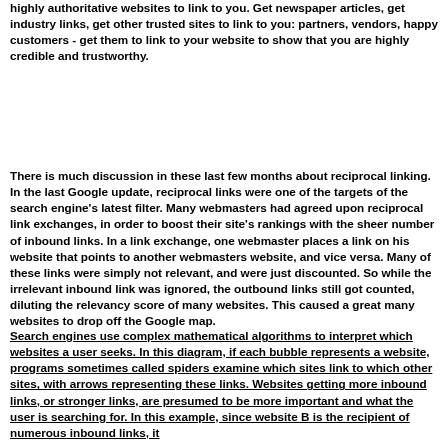highly authoritative websites to link to you. Get newspaper articles, get industry links, get other trusted sites to link to you: partners, vendors, happy customers - get them to link to your website to show that you are highly credible and trustworthy.
There is much discussion in these last few months about reciprocal linking. In the last Google update, reciprocal links were one of the targets of the search engine's latest filter. Many webmasters had agreed upon reciprocal link exchanges, in order to boost their site's rankings with the sheer number of inbound links. In a link exchange, one webmaster places a link on his website that points to another webmasters website, and vice versa. Many of these links were simply not relevant, and were just discounted. So while the irrelevant inbound link was ignored, the outbound links still got counted, diluting the relevancy score of many websites. This caused a great many websites to drop off the Google map.
Search engines use complex mathematical algorithms to interpret which websites a user seeks. In this diagram, if each bubble represents a website, programs sometimes called spiders examine which sites link to which other sites, with arrows representing these links. Websites getting more inbound links, or stronger links, are presumed to be more important and what the user is searching for. In this example, since website B is the recipient of numerous inbound links, it